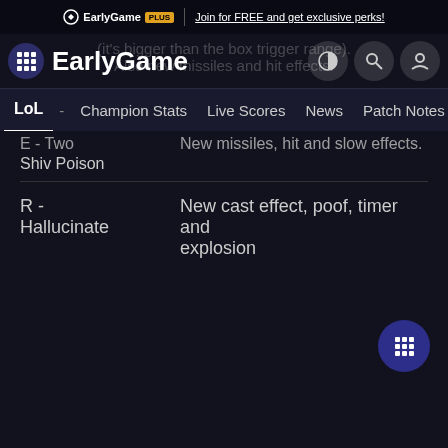EarlyGame PLUS | Join for FREE and get exclusive perks!
[Figure (screenshot): EarlyGame website header with logo, navigation icons (theme toggle, search, account), and navigation bar with LoL, Champion Stats, Live Scores, News, Patch Notes, Skins]
(it's bigger than the box trigger range). Also new missiles and hit effects.
E - Two
Shiv Poison	New missiles, hit and slow effects.
R - Hallucinate	New cast effect, poof, timer and explosion